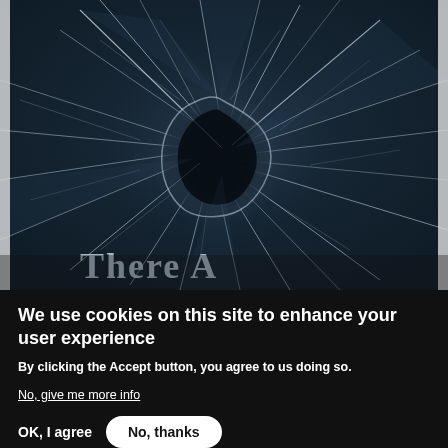[Figure (photo): A broken glass or shattered screen with cracks radiating from a dark central point, on a dark blue-grey background. Partially visible text at the bottom of the image begins with 'There A...' in a stylized font.]
We use cookies on this site to enhance your user experience
By clicking the Accept button, you agree to us doing so.
No, give me more info
OK, I agree
No, thanks